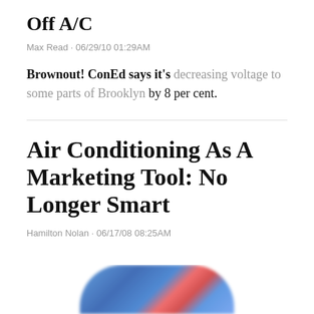Off A/C
Max Read · 06/29/10 01:29AM
Brownout! ConEd says it's decreasing voltage to some parts of Brooklyn by 8 per cent.
Air Conditioning As A Marketing Tool: No Longer Smart
Hamilton Nolan · 06/17/08 08:25AM
[Figure (photo): Partially visible blurred colorful object at the bottom of the page]